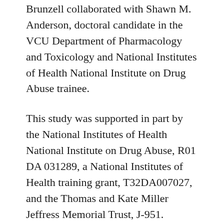Brunzell collaborated with Shawn M. Anderson, doctoral candidate in the VCU Department of Pharmacology and Toxicology and National Institutes of Health National Institute on Drug Abuse trainee.
This study was supported in part by the National Institutes of Health National Institute on Drug Abuse, R01 DA 031289, a National Institutes of Health training grant, T32DA007027, and the Thomas and Kate Miller Jeffress Memorial Trust, J-951.
PLOS ONE is an open-access peer-reviewed journal published by the Public Library of